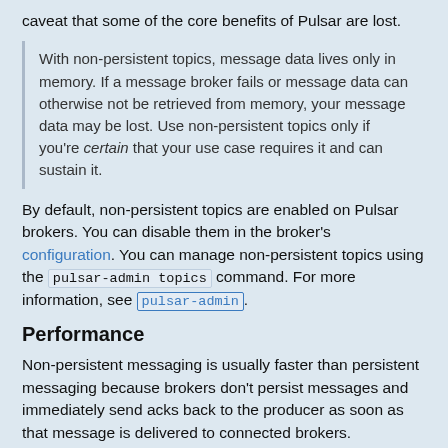caveat that some of the core benefits of Pulsar are lost.
With non-persistent topics, message data lives only in memory. If a message broker fails or message data can otherwise not be retrieved from memory, your message data may be lost. Use non-persistent topics only if you're certain that your use case requires it and can sustain it.
By default, non-persistent topics are enabled on Pulsar brokers. You can disable them in the broker's configuration. You can manage non-persistent topics using the pulsar-admin topics command. For more information, see pulsar-admin.
Performance
Non-persistent messaging is usually faster than persistent messaging because brokers don't persist messages and immediately send acks back to the producer as soon as that message is delivered to connected brokers.